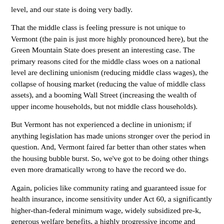level, and our state is doing very badly.
That the middle class is feeling pressure is not unique to Vermont (the pain is just more highly pronounced here), but the Green Mountain State does present an interesting case. The primary reasons cited for the middle class woes on a national level are declining unionism (reducing middle class wages), the collapse of housing market (reducing the value of middle class assets), and a booming Wall Street (increasing the wealth of upper income households, but not middle class households).
But Vermont has not experienced a decline in unionism; if anything legislation has made unions stronger over the period in question. And, Vermont faired far better than other states when the housing bubble burst. So, we've got to be doing other things even more dramatically wrong to have the record we do.
Again, policies like community rating and guaranteed issue for health insurance, income sensitivity under Act 60, a significantly higher-than-federal minimum wage, widely subsidized pre-k, generous welfare benefits, a highly progressive income and property taxes, were supposed to make life better for the middle class. Clearly they haven't helped, and by all accounts have made matters worse.
Rob Roper is president of the Ethan Allen Institute